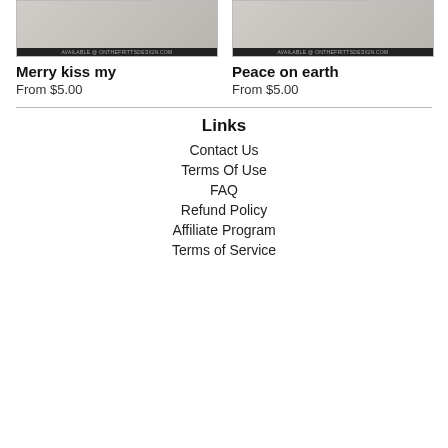[Figure (photo): Product image for Merry kiss my - decorative Christmas design available at onthefrittsdesign.com]
Merry kiss my
From $5.00
[Figure (photo): Product image for Peace on earth - decorative Christmas design available at onthefrittsdesign.com]
Peace on earth
From $5.00
Links
Contact Us
Terms Of Use
FAQ
Refund Policy
Affiliate Program
Terms of Service